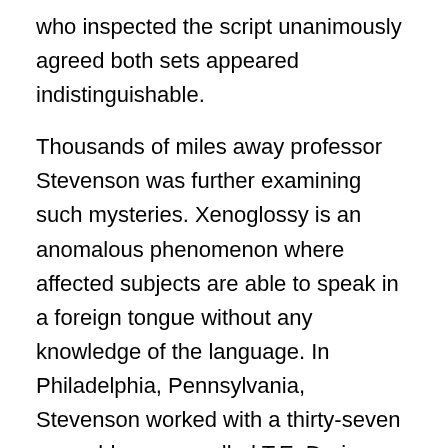who inspected the script unanimously agreed both sets appeared indistinguishable.
Thousands of miles away professor Stevenson was further examining such mysteries. Xenoglossy is an anomalous phenomenon where affected subjects are able to speak in a foreign tongue without any knowledge of the language. In Philadelphia, Pennsylvania, Stevenson worked with a thirty-seven year-old woman called T.E. During hypnotic regressions the woman maintained she was a peasant named Jensen Jacoby. Despite never learning the dialect, T.E. could both answer and respond in Swedish while conversing with an interviewer. Steven administered a language aptitude test, two polygraphs and a word association examination. Each assessment was passed by the intriguing lady. Friends and family were questioned and